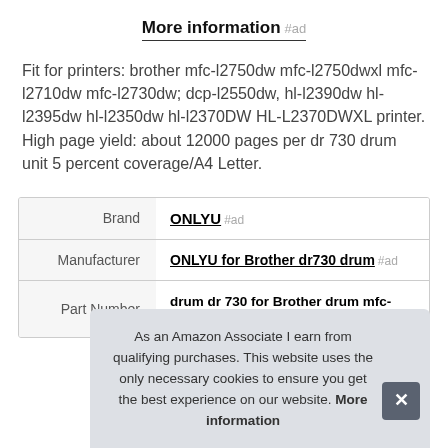More information #ad
Fit for printers: brother mfc-l2750dw mfc-l2750dwxl mfc-l2710dw mfc-l2730dw; dcp-l2550dw, hl-l2390dw hl-l2395dw hl-l2350dw hl-l2370DW HL-L2370DWXL printer. High page yield: about 12000 pages per dr 730 drum unit 5 percent coverage/A4 Letter.
|  |  |
| --- | --- |
| Brand | ONLYU #ad |
| Manufacturer | ONLYU for Brother dr730 drum #ad |
| Part Number | drum dr 730 for Brother drum mfc-l2750dw |
As an Amazon Associate I earn from qualifying purchases. This website uses the only necessary cookies to ensure you get the best experience on our website. More information